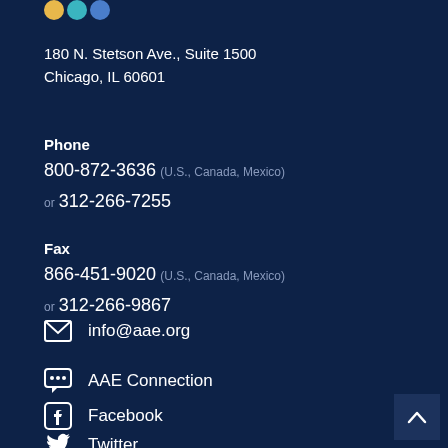[Figure (logo): Partial logo circles (yellow, teal, blue) at top left]
180 N. Stetson Ave., Suite 1500
Chicago, IL 60601
Phone
800-872-3636 (U.S., Canada, Mexico)
or 312-266-7255
Fax
866-451-9020 (U.S., Canada, Mexico)
or 312-266-9867
info@aae.org
AAE Connection
Facebook
Twitter